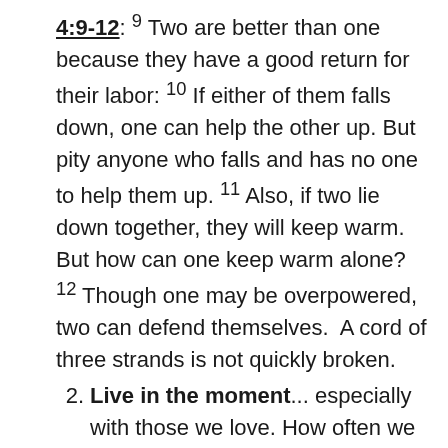4:9-12: 9 Two are better than one because they have a good return for their labor: 10 If either of them falls down, one can help the other up. But pity anyone who falls and has no one to help them up. 11 Also, if two lie down together, they will keep warm. But how can one keep warm alone? 12 Though one may be overpowered, two can defend themselves. A cord of three strands is not quickly broken.
2. Live in the moment... especially with those we love. How often we are thinking ahead and not really